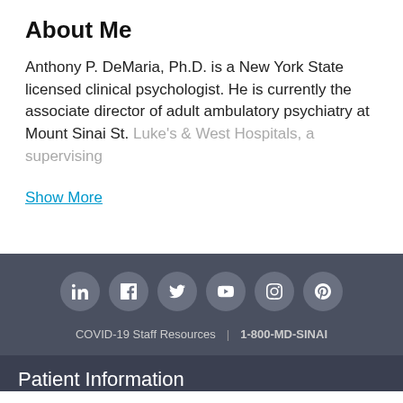About Me
Anthony P. DeMaria, Ph.D. is a New York State licensed clinical psychologist. He is currently the associate director of adult ambulatory psychiatry at Mount Sinai St. Luke's & West Hospitals, a supervising
Show More
COVID-19 Staff Resources | 1-800-MD-SINAI
Patient Information